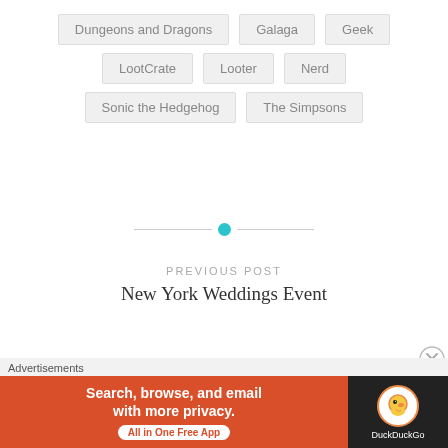Dungeons and Dragons
Galaga
Geek
LootCrate
Looter
Nerd
Sonic the Hedgehog
The Simpsons
PREVIOUS POST
New York Weddings Event
NEXT POST
Powerchrom March 2018
Advertisements
Search, browse, and email with more privacy. All in One Free App